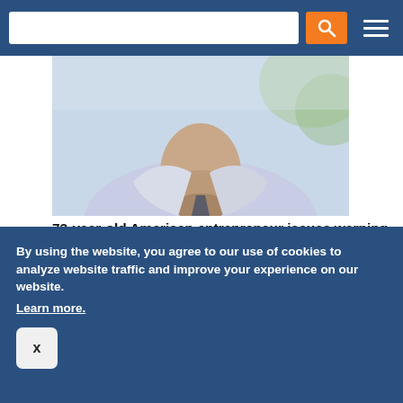[Search bar and navigation menu]
[Figure (photo): Close-up photo of an older man in a white shirt looking downward, blurred background with green foliage]
73-year-old American entrepreneur issues warning
Stansberry Research
[Figure (photo): Photo of a person in a denim jacket holding something small over an open hand, blurred indoor background with green plant]
By using the website, you agree to our use of cookies to analyze website traffic and improve your experience on our website. Learn more.